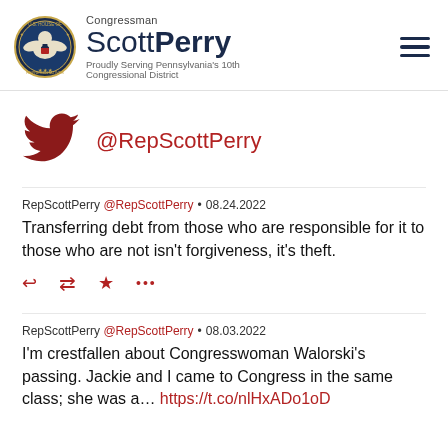Congressman Scott Perry – Proudly Serving Pennsylvania's 10th Congressional District
[Figure (logo): Twitter bird logo in red/dark red color]
@RepScottPerry
RepScottPerry @RepScottPerry • 08.24.2022
Transferring debt from those who are responsible for it to those who are not isn't forgiveness, it's theft.
RepScottPerry @RepScottPerry • 08.03.2022
I'm crestfallen about Congresswoman Walorski's passing. Jackie and I came to Congress in the same class; she was a… https://t.co/nlHxADo1oD